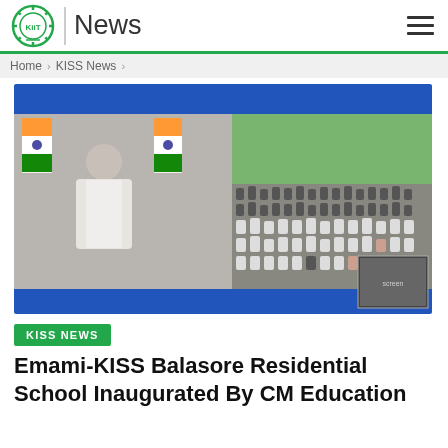KIIT News
Home > KISS News >
[Figure (photo): Split-screen image with blue borders: left side shows a man (Chief Minister) on a video screen with Indian flags on either side; right side shows a large crowd of attendees seated outdoors.]
KISS NEWS
Emami-KISS Balasore Residential School Inaugurated By CM Education